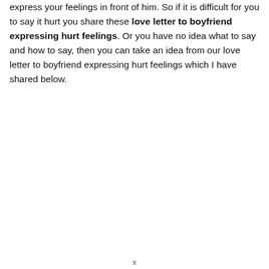then don't worry I am here to help you. I think you need to express your feelings in front of him. So if it is difficult for you to say it hurt you share these love letter to boyfriend expressing hurt feelings. Or you have no idea what to say and how to say, then you can take an idea from our love letter to boyfriend expressing hurt feelings which I have shared below.
x